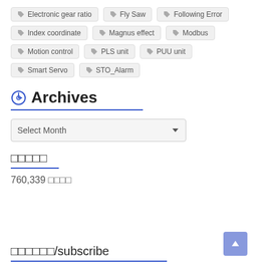Electronic gear ratio
Fly Saw
Following Error
Index coordinate
Magnus effect
Modbus
Motion control
PLS unit
PUU unit
Smart Servo
STO_Alarm
Archives
Select Month
□□□□□
760,339 □□□□
□□□□□□/subscribe